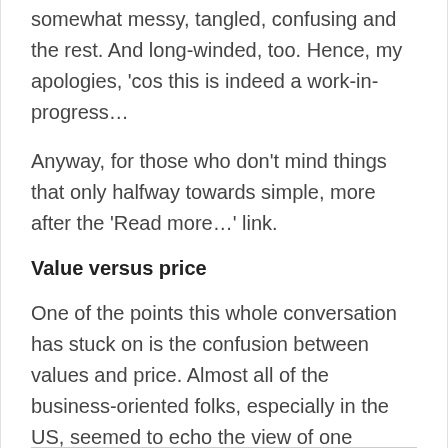somewhat messy, tangled, confusing and the rest. And long-winded, too. Hence, my apologies, 'cos this is indeed a work-in-progress…
Anyway, for those who don't mind things that only halfway towards simple, more after the 'Read more…' link.
Value versus price
One of the points this whole conversation has stuck on is the confusion between values and price. Almost all of the business-oriented folks, especially in the US, seemed to echo the view of one contributor, Cliff: